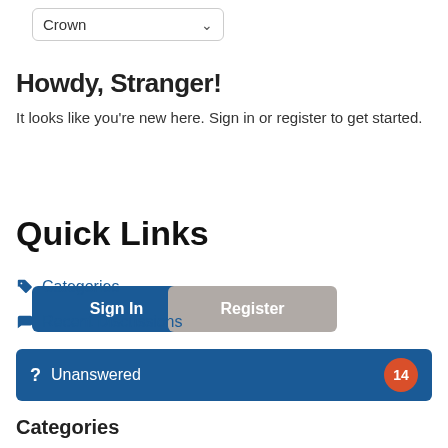[Figure (screenshot): Dropdown selector showing 'Crown' with a chevron arrow]
Howdy, Stranger!
It looks like you're new here. Sign in or register to get started.
[Figure (screenshot): Sign In button (blue) and Register button (gray)]
Quick Links
Categories
Recent Discussions
Unanswered 14
Categories
All Categories 213